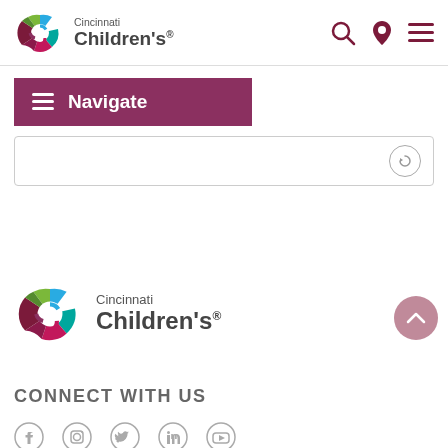[Figure (logo): Cincinnati Children's logo in header with colorful circular icon and text]
[Figure (other): Header icons: search (magnifying glass), location pin, hamburger menu - in dark red/maroon color]
[Figure (other): Navigate button bar - dark purple/maroon background with hamburger icon and 'Navigate' text in white]
[Figure (other): Search input box with a circular arrow/refresh icon on the right]
[Figure (logo): Cincinnati Children's footer logo - larger colorful circular icon with text]
[Figure (other): Scroll-to-top circular button with upward chevron, pink/mauve color]
CONNECT WITH US
[Figure (other): Social media icons row: Facebook, Instagram, Twitter, LinkedIn, YouTube]